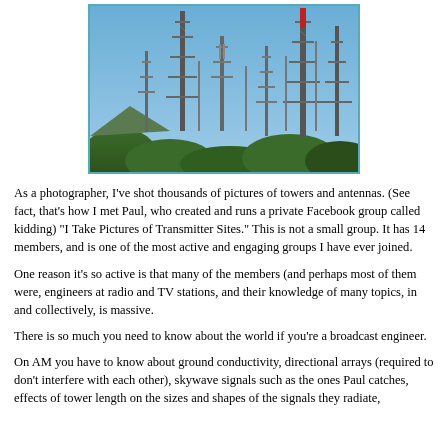[Figure (photo): Photograph of multiple tall broadcast antenna towers and masts clustered on a hilltop surrounded by trees, against a clear blue sky.]
As a photographer, I've shot thousands of pictures of towers and antennas. (See fact, that's how I met Paul, who created and runs a private Facebook group calle kidding) "I Take Pictures of Transmitter Sites." This is not a small group. It has 1 members, and is one of the most active and engaging groups I have ever joined.
One reason it's so active is that many of the members (and perhaps most of the were, engineers at radio and TV stations, and their knowledge of many topics, i and collectively, is massive.
There is so much you need to know about the world if you're a broadcast engine
On AM you have to know about ground conductivity, directional arrays (required don't interfere with each other), skywave signals such as the ones Paul catches effects of tower length on the sizes and shapes of the signals they radiate,